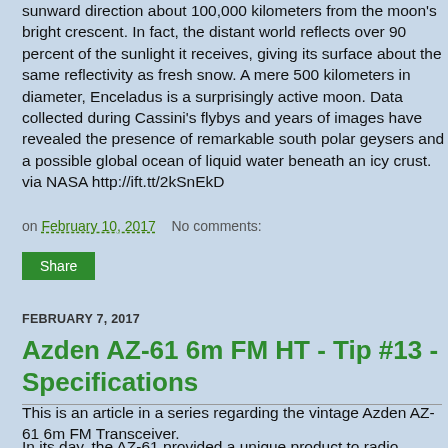sunward direction about 100,000 kilometers from the moon's bright crescent. In fact, the distant world reflects over 90 percent of the sunlight it receives, giving its surface about the same reflectivity as fresh snow. A mere 500 kilometers in diameter, Enceladus is a surprisingly active moon. Data collected during Cassini's flybys and years of images have revealed the presence of remarkable south polar geysers and a possible global ocean of liquid water beneath an icy crust. via NASA http://ift.tt/2kSnEkD
on February 10, 2017   No comments:
Share
FEBRUARY 7, 2017
Azden AZ-61 6m FM HT - Tip #13 - Specifications
This is an article in a series regarding the vintage Azden AZ-61 6m FM Transceiver.
In its day, the AZ-61 provided a unique product to radio